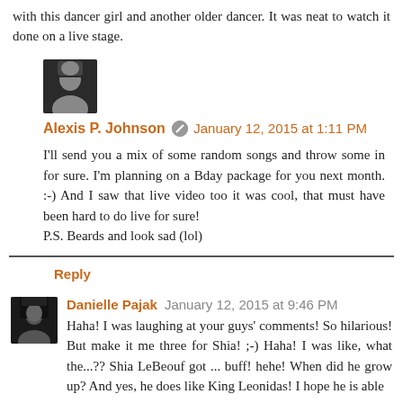with this dancer girl and another older dancer. It was neat to watch it done on a live stage.
Alexis P. Johnson [moderator icon] January 12, 2015 at 1:11 PM
I'll send you a mix of some random songs and throw some in for sure. I'm planning on a Bday package for you next month. :-) And I saw that live video too it was cool, that must have been hard to do live for sure!
P.S. Beards and look sad (lol)
Reply
Danielle Pajak January 12, 2015 at 9:46 PM
Haha! I was laughing at your guys' comments! So hilarious! But make it me three for Shia! ;-) Haha! I was like, what the...?? Shia LeBeouf got ... buff! hehe! When did he grow up? And yes, he does like King Leonidas! I hope he is able